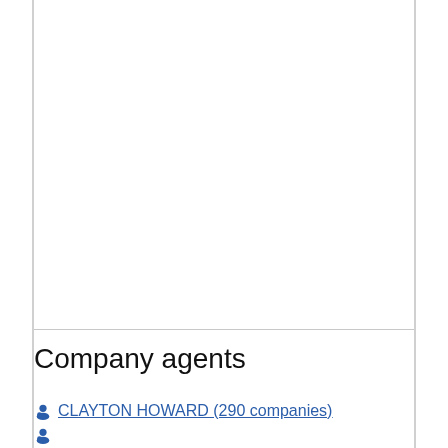Company agents
CLAYTON HOWARD (290 companies)